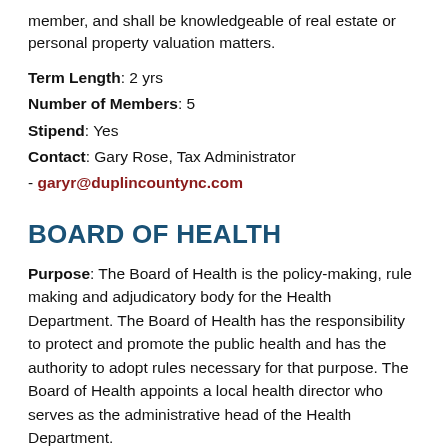member, and shall be knowledgeable of real estate or personal property valuation matters.
Term Length: 2 yrs
Number of Members: 5
Stipend: Yes
Contact: Gary Rose, Tax Administrator - garyr@duplincountync.com
BOARD OF HEALTH
Purpose: The Board of Health is the policy-making, rule making and adjudicatory body for the Health Department. The Board of Health has the responsibility to protect and promote the public health and has the authority to adopt rules necessary for that purpose. The Board of Health appoints a local health director who serves as the administrative head of the Health Department.
Qualifications: members from which one must be a...